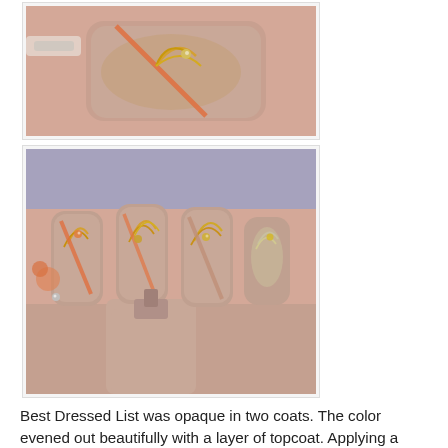[Figure (photo): Close-up photo of a fingernail with nail art — mauve/nude base color with gold and orange decorative stripe and gem detail, nail polish brush visible]
[Figure (photo): Photo of a hand showing multiple nails with nail art on a mauve/nude base, decorated with gold feather designs, orange and gold stripes, and rhinestone gems. A bottle of nude nail polish is visible in the foreground.]
Best Dressed List was opaque in two coats. The color evened out beautifully with a layer of topcoat. Applying a light colored cream to long nails is a test of a quality formula. Best Dressed List covered smoothly and I had a perfect application without needing to touch up any areas.
I painted the grasses with Art Club stripers in You're Golden